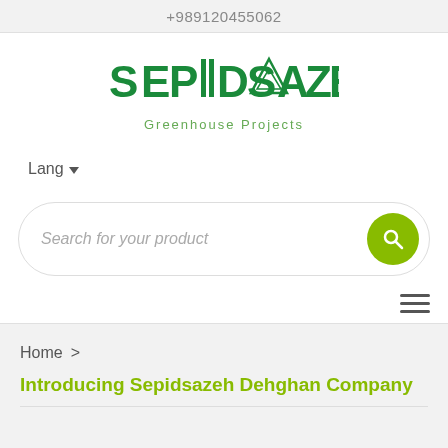+989120455062
[Figure (logo): SEPIDSAZEH Greenhouse Projects logo — stylized green text with triangle/diamond geometric mark]
Greenhouse Projects
Lang ▼
Search for your product
Home >
Introducing Sepidsazeh Dehghan Company